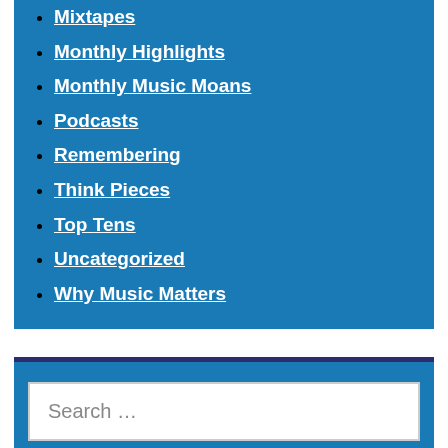Mixtapes
Monthly Highlights
Monthly Music Moans
Podcasts
Remembering
Think Pieces
Top Tens
Uncategorized
Why Music Matters
Search …